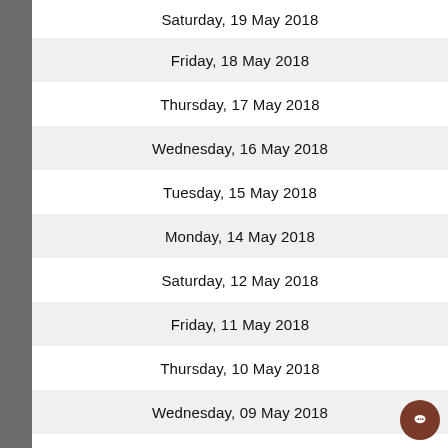Saturday, 19 May 2018
Friday, 18 May 2018
Thursday, 17 May 2018
Wednesday, 16 May 2018
Tuesday, 15 May 2018
Monday, 14 May 2018
Saturday, 12 May 2018
Friday, 11 May 2018
Thursday, 10 May 2018
Wednesday, 09 May 2018